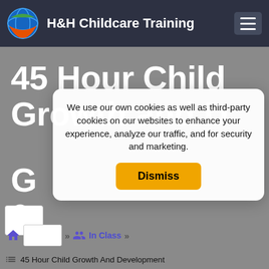H&H Childcare Training
45 Hour Child Growth and Development IN G... 0...
We use our own cookies as well as third-party cookies on our websites to enhance your experience, analyze our traffic, and for security and marketing.
Dismiss
In Class
45 Hour Child Growth And Development